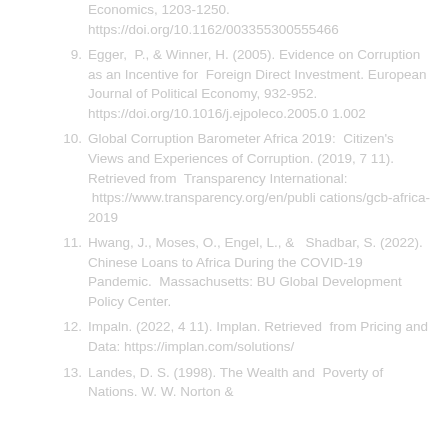Economics, 1203-1250. https://doi.org/10.1162/003355300555466
9. Egger, P., & Winner, H. (2005). Evidence on Corruption as an Incentive for Foreign Direct Investment. European Journal of Political Economy, 932-952. https://doi.org/10.1016/j.ejpoleco.2005.01.002
10. Global Corruption Barometer Africa 2019: Citizen's Views and Experiences of Corruption. (2019, 7 11). Retrieved from Transparency International: https://www.transparency.org/en/publications/gcb-africa-2019
11. Hwang, J., Moses, O., Engel, L., & Shadbar, S. (2022). Chinese Loans to Africa During the COVID-19 Pandemic. Massachusetts: BU Global Development Policy Center.
12. Impaln. (2022, 4 11). Implan. Retrieved from Pricing and Data: https://implan.com/solutions/
13. Landes, D. S. (1998). The Wealth and Poverty of Nations. W. W. Norton &